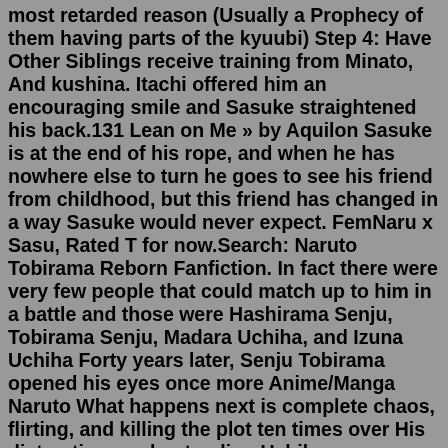most retarded reason (Usually a Prophecy of them having parts of the kyuubi) Step 4: Have Other Siblings receive training from Minato, And kushina. Itachi offered him an encouraging smile and Sasuke straightened his back.131 Lean on Me » by Aquilon Sasuke is at the end of his rope, and when he has nowhere else to turn he goes to see his friend from childhood, but this friend has changed in a way Sasuke would never expect. FemNaru x Sasu, Rated T for now.Search: Naruto Tobirama Reborn Fanfiction. In fact there were very few people that could match up to him in a battle and those were Hashirama Senju, Tobirama Senju, Madara Uchiha, and Izuna Uchiha Forty years later, Senju Tobirama opened his eyes once more Anime/Manga Naruto What happens next is complete chaos, flirting, and killing the plot ten times over His distraction: understanding Uchiha ...Childhood Friends Chapter 1: Be our guest, a naruto fanfic | FanFiction Please be kind. Weather is mysterious in many ways. In Konoha, the weather is usually very nice. If you stretched out your arms to